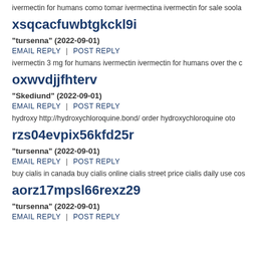ivermectin for humans como tomar ivermectina ivermectin for sale soola
xsqcacfuwbtgkckl9i
"tursenna" (2022-09-01)
EMAIL REPLY  |  POST REPLY
ivermectin 3 mg for humans ivermectin ivermectin for humans over the c
oxwvdjjfhterv
"Skediund" (2022-09-01)
EMAIL REPLY  |  POST REPLY
hydroxy http://hydroxychloroquine.bond/ order hydroxychloroquine oto
rzs04evpix56kfd25r
"tursenna" (2022-09-01)
EMAIL REPLY  |  POST REPLY
buy cialis in canada buy cialis online cialis street price cialis daily use cos
aorz17mpsl66rexz29
"tursenna" (2022-09-01)
EMAIL REPLY  |  POST REPLY